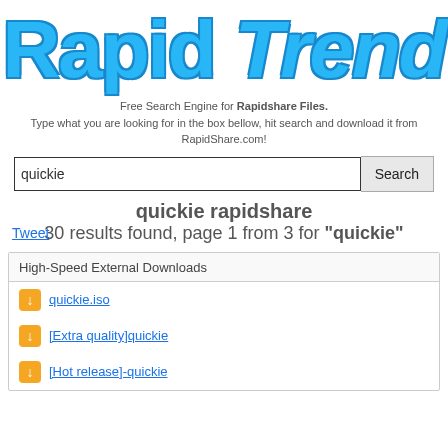[Figure (logo): RapidTrend logo in large bold italic cyan/blue text]
Free Search Engine for Rapidshare Files.
Type what you are looking for in the box bellow, hit search and download it from RapidShare.com!
quickie [search input] Search
quickie rapidshare
Tweet  30 results found, page 1 from 3 for "quickie"
| High-Speed External Downloads |
| --- |
| quickie.iso |
| [Extra quality]quickie |
| [Hot release]-quickie |